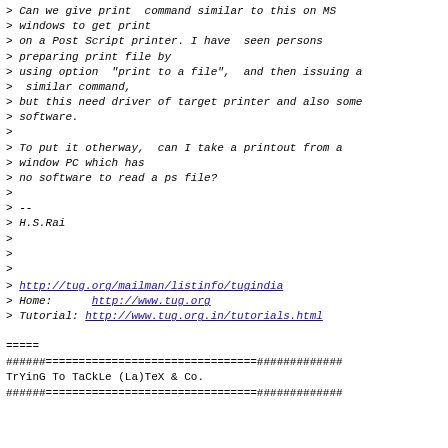> Can we give print  command similar to this on MS
> windows to get print
> on a Post Script printer. I have  seen persons
> preparing print file by
> using option  "print to a file",  and then issuing a
>  similar command,
> but this need driver of target printer and also some
> software.
>
> To put it otherway,  can I take a printout from a
> window PC which has
> no software to read a ps file?
>
> --
> H.S.Rai
>
>
>
> http://tug.org/mailman/listinfo/tugindia
> Home:      http://www.tug.org
> Tutorial: http://www.tug.org.in/tutorials.html
=====
######================================#############
TrYinG To TaCkLe (La)TeX & Co.
######================================#############